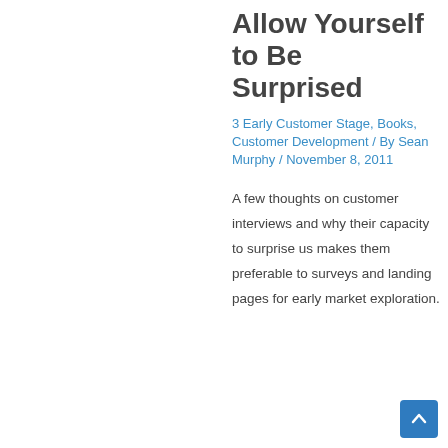Allow Yourself to Be Surprised
3 Early Customer Stage, Books, Customer Development / By Sean Murphy / November 8, 2011
A few thoughts on customer interviews and why their capacity to surprise us makes them preferable to surveys and landing pages for early market exploration.